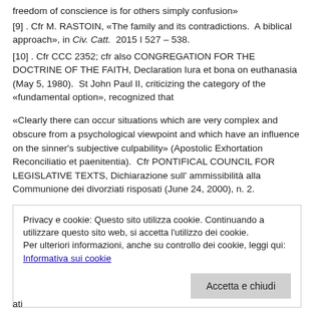[9] . Cfr M. RASTOIN, «The family and its contradictions.  A biblical approach», in Civ. Catt.  2015 I 527 – 538.
[10] . Cfr CCC 2352; cfr also CONGREGATION FOR THE DOCTRINE OF THE FAITH, Declaration Iura et bona on euthanasia (May 5, 1980).  St John Paul II, criticizing the category of the «fundamental option», recognized that
«Clearly there can occur situations which are very complex and obscure from a psychological viewpoint and which have an influence on the sinner's subjective culpability» (Apostolic Exhortation Reconciliatio et paenitentia).  Cfr PONTIFICAL COUNCIL FOR LEGISLATIVE TEXTS, Dichiarazione sull' ammissibilità alla Communione dei divorziati risposati (June 24, 2000), n. 2.
[11] . In this regard, we note that, if misunderstood, the intrinsece malum (intrinsic evil) suppresses discussion of the circumstances and
Privacy e cookie: Questo sito utilizza cookie. Continuando a utilizzare questo sito web, si accetta l'utilizzo dei cookie.
Per ulteriori informazioni, anche su controllo dei cookie, leggi qui:
Informativa sui cookie
Accetta e chiudi